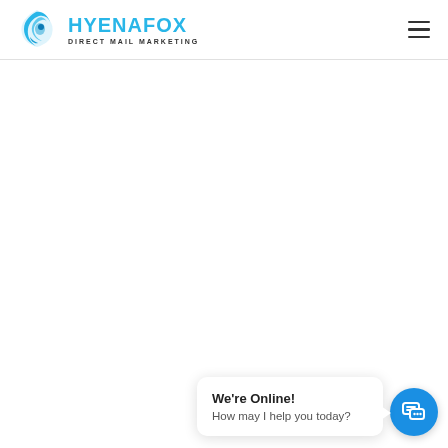HYENAFOX DIRECT MAIL MARKETING
[Figure (logo): HyenaFox Direct Mail Marketing logo with blue fox/flame icon and company name in blue with tagline in dark gray]
We're Online! How may I help you today?